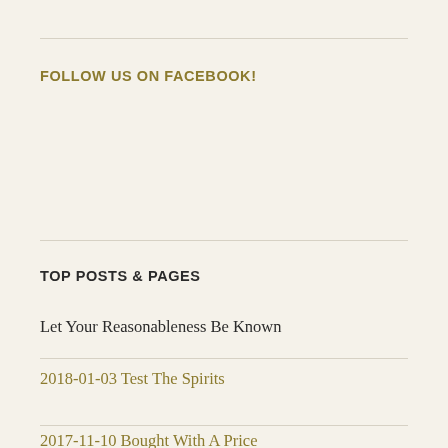FOLLOW US ON FACEBOOK!
TOP POSTS & PAGES
Let Your Reasonableness Be Known
2018-01-03 Test The Spirits
2017-11-10 Bought With A Price
2019-02-19 Running At Capacity?